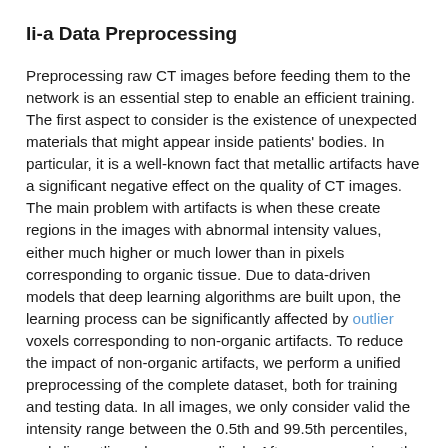Ii-a Data Preprocessing
Preprocessing raw CT images before feeding them to the network is an essential step to enable an efficient training. The first aspect to consider is the existence of unexpected materials that might appear inside patients' bodies. In particular, it is a well-known fact that metallic artifacts have a significant negative effect on the quality of CT images. The main problem with artifacts is when these create regions in the images with abnormal intensity values, either much higher or much lower than in pixels corresponding to organic tissue. Due to data-driven models that deep learning algorithms are built upon, the learning process can be significantly affected by outlier voxels corresponding to non-organic artifacts. To reduce the impact of non-organic artifacts, we perform a unified preprocessing of the complete dataset, both for training and testing data. In all images, we only consider valid the intensity range between the 0.5th and 99.5th percentiles, and clip outlier values accordingly. After preprosessing, the data is normalized with a normal foreground mean and standard deviation to improve the training of the three-dimensional network.